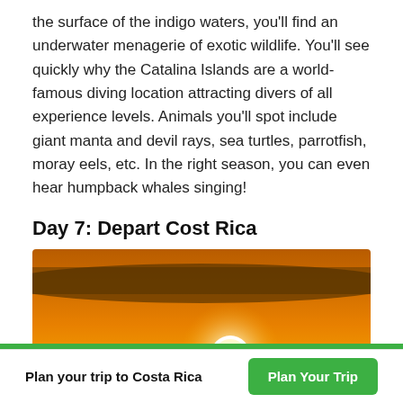the surface of the indigo waters, you'll find an underwater menagerie of exotic wildlife. You'll see quickly why the Catalina Islands are a world-famous diving location attracting divers of all experience levels. Animals you'll spot include giant manta and devil rays, sea turtles, parrotfish, moray eels, etc. In the right season, you can even hear humpback whales singing!
Day 7: Depart Cost Rica
[Figure (photo): Sunset over the ocean with a golden sky, the sun near the horizon above dark ocean waves reflecting orange light on the water surface.]
Plan your trip to Costa Rica | Plan Your Trip